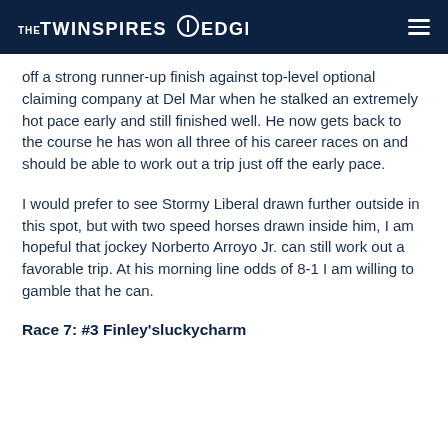THE TWINSPIRES EDGE
off a strong runner-up finish against top-level optional claiming company at Del Mar when he stalked an extremely hot pace early and still finished well. He now gets back to the course he has won all three of his career races on and should be able to work out a trip just off the early pace.
I would prefer to see Stormy Liberal drawn further outside in this spot, but with two speed horses drawn inside him, I am hopeful that jockey Norberto Arroyo Jr. can still work out a favorable trip. At his morning line odds of 8-1 I am willing to gamble that he can.
Race 7: #3 Finley'sluckycharm